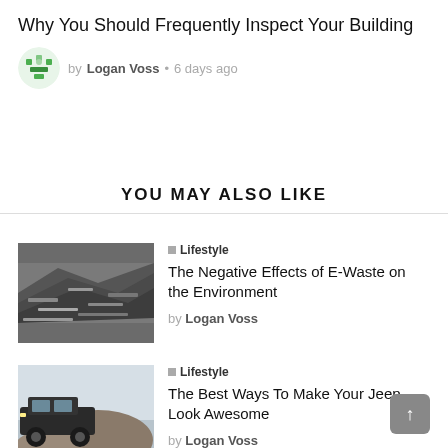Why You Should Frequently Inspect Your Building
by Logan Voss • 6 days ago
YOU MAY ALSO LIKE
[Figure (photo): Pile of scrapped metal and e-waste materials]
Lifestyle
The Negative Effects of E-Waste on the Environment
by Logan Voss
[Figure (photo): Jeep SUV parked on rocky terrain]
Lifestyle
The Best Ways To Make Your Jeep Look Awesome
by Logan Voss